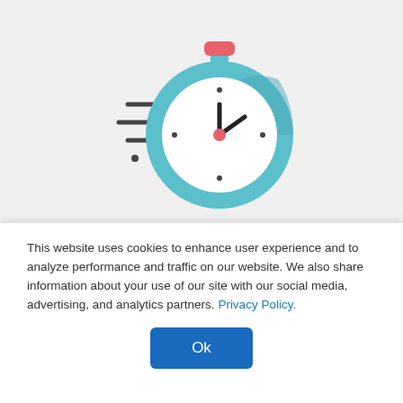[Figure (illustration): A stopwatch icon with speed motion lines to the left, rendered in teal/cyan with a pink button on top and a pink center dot, shown on a light gray background.]
Fast
Extremely focused energy means the plastic is heated exceptionally fast. This
This website uses cookies to enhance user experience and to analyze performance and traffic on our website. We also share information about your use of our site with our social media, advertising, and analytics partners. Privacy Policy.
Ok